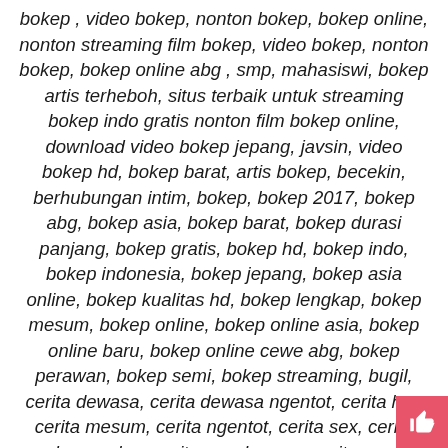bokep , video bokep, nonton bokep, bokep online, nonton streaming film bokep, video bokep, nonton bokep, bokep online abg , smp, mahasiswi, bokep artis terheboh, situs terbaik untuk streaming bokep indo gratis nonton film bokep online, download video bokep jepang, javsin, video bokep hd, bokep barat, artis bokep, becekin, berhubungan intim, bokep, bokep 2017, bokep abg, bokep asia, bokep barat, bokep durasi panjang, bokep gratis, bokep hd, bokep indo, bokep indonesia, bokep jepang, bokep asia online, bokep kualitas hd, bokep lengkap, bokep mesum, bokep online, bokep online asia, bokep online baru, bokep online cewe abg, bokep perawan, bokep semi, bokep streaming, bugil, cerita dewasa, cerita dewasa ngentot, cerita hot, cerita mesum, cerita ngentot, cerita sex, cerita sex bergambar, cerita sex dewasa, cerita sex hot, cerita sex ngentot, cerita sex terbaru, cerita tante sex, cewek seksi, download bokep, duniasex abg, film bokep, film bokep jepang, film bokep korea, film bokep online, film bokep xxx, film hot, film mesum, film ngentot, film semi, film semi hot, film sex, film sex indo, gratis